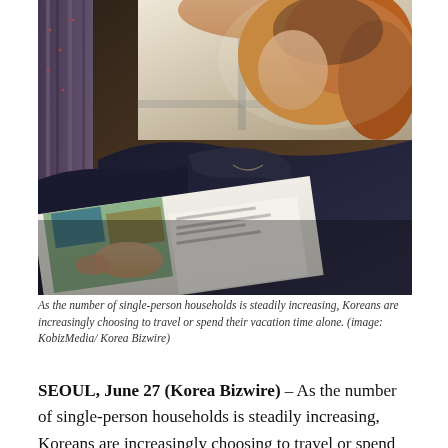[Figure (photo): A person with red hair sitting on a bus or train, reading a travel magazine or brochure. They are wearing a dark jacket. A curtained window is visible in the background.]
As the number of single-person households is steadily increasing, Koreans are increasingly choosing to travel or spend their vacation time alone. (image: KobizMedia/ Korea Bizwire)
SEOUL, June 27 (Korea Bizwire) – As the number of single-person households is steadily increasing, Koreans are increasingly choosing to travel or spend their vacation time alone. Solo traveling is more liberating and sometimes much more convenient than having a companion, leading to a more...